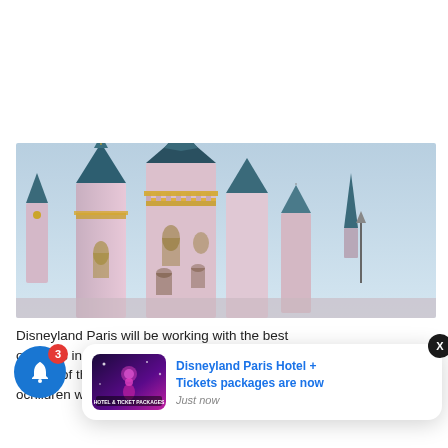[Figure (photo): Disneyland Paris castle (Sleeping Beauty Castle) viewed from below, showing pink and teal/blue spires against a light blue sky at dusk or dawn]
Disneyland Paris will be working with the best of teams in Europe as part of the refu... children who ha...
[Figure (screenshot): Push notification popup: thumbnail showing a Disneyland Paris Hotel & Ticket Packages promotional image with text 'HOTEL & TICKET PACKAGES ENTRANCE UP TO MARCH 2024'. Notification title: 'Disneyland Paris Hotel + Tickets packages are now'. Time: 'Just now'. Close (X) button top right.]